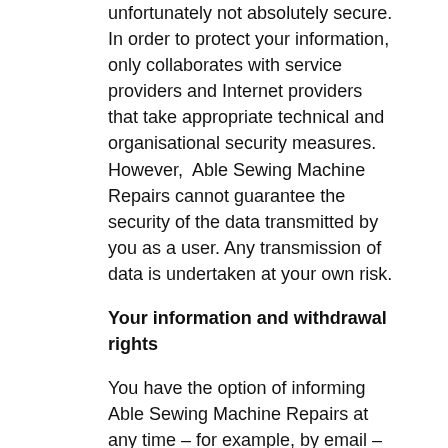unfortunately not absolutely secure. In order to protect your information, only collaborates with service providers and Internet providers that take appropriate technical and organisational security measures. However,  Able Sewing Machine Repairs cannot guarantee the security of the data transmitted by you as a user. Any transmission of data is undertaken at your own risk.
Your information and withdrawal rights
You have the option of informing Able Sewing Machine Repairs at any time – for example, by email – that your information should in future no longer be used to contact you. You can also cancel your subscription to our website, such as the newsletter service, at any time.